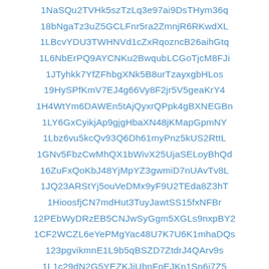1NaSQu2TVHk5szTzLq3e97ai9DsTHym36q
18bNgaTz3uZ5GCLFnr5ra2ZmnjR6RKwdXL
1LBcvYDU3TWHNVd1cZxRqozncB26aihGtq
1L6NbErPQ9AYCNKu2BwqubLCGoTjcM8FJi
1JTyhkk7YfZFhbgXNk5B8urTzayxgbHLos
19HySPfKmV7EJ4g66Vy8F2jr5V5geaKrY4
1H4WtYm6DAWEn5tAjQyxrQPpk4gBXNEGBn
1LY6GxCyikjAp9gjgHbaXN48jKMapGpmNY
1Lbz6vu5kcQv93Q6Dh61myPnz5kUS2RttL
1GNv5FbzCwMhQX1bWivX25UjaSELoyBhQd
16ZuFxQoKbJ48YjMpYZ3gwmiD7nUAvTv8L
1JQ23ARStYj5ouVeDMx9yF9U2TEda8Z3hT
1HioosfjCN7mdHut3TuyJawtSS15fxNFBr
12PEbWyDRzEB5CNJwSyGgm5XGLs9nxpBY2
1CF2WCZL6eYePMgYac48U7K7U6K1mhaDQs
123pgvikmnE1L9b5qBSZD7ZtdrJ4QArv9s
1L1c29dN2G5YEZKJiUbnFpEJKn1Sn6j7Z5
1N3s568y4RQ5ZYQXGPdm2S18rvCrhoswvG
1NLkk4iBuabTjWwJWAoeZZruEqze93QpbR
1DpiQ3hWWJGA7Jzj1Cq5yRrdH51hLfV3cj
1MEgku84rZkiqCWsDh6iYRJnHxm4gFCSpR
17WADcaNXTUQnrAhZz92bCrbgoTw9Cpjb3